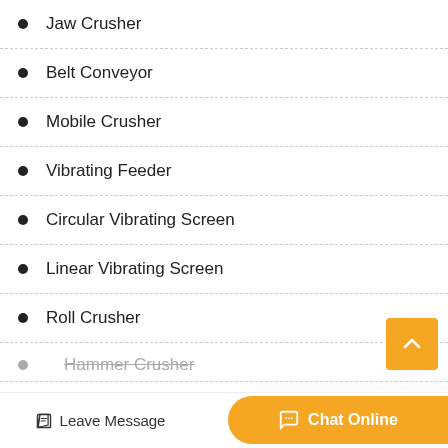Jaw Crusher
Belt Conveyor
Mobile Crusher
Vibrating Feeder
Circular Vibrating Screen
Linear Vibrating Screen
Roll Crusher
Hammer Crusher
Leave Message    Chat Online